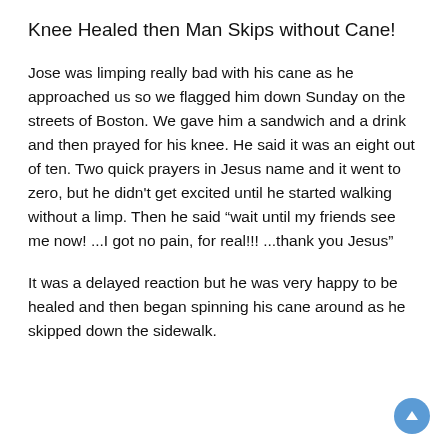Knee Healed then Man Skips without Cane!
Jose was limping really bad with his cane as he approached us so we flagged him down Sunday on the streets of Boston. We gave him a sandwich and a drink and then prayed for his knee. He said it was an eight out of ten. Two quick prayers in Jesus name and it went to zero, but he didn't get excited until he started walking without a limp. Then he said “wait until my friends see me now! ...I got no pain, for real!!! ...thank you Jesus”
It was a delayed reaction but he was very happy to be healed and then began spinning his cane around as he skipped down the sidewalk.